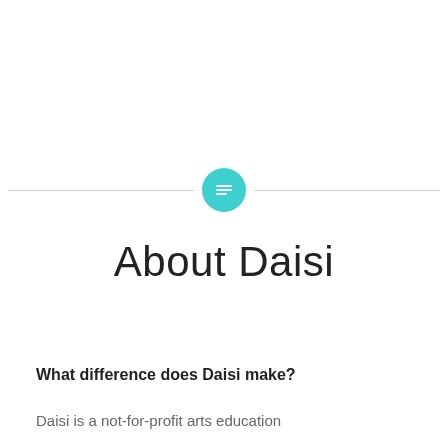[Figure (other): Horizontal divider line with a teal circular icon in the center containing a list/text symbol]
About Daisi
What difference does Daisi make?
Daisi is a not-for-profit arts education